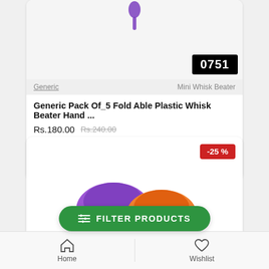[Figure (screenshot): Product card showing a Mini Whisk Beater with badge '0751', brand 'Generic', price Rs.180.00 (was Rs.240.00), quantity selector, add-to-cart button, and wishlist heart icon]
Generic
Mini Whisk Beater
Generic Pack Of_5 Fold Able Plastic Whisk Beater Hand ...
Rs.180.00 Rs.240.00
[Figure (screenshot): Second product card with -25% discount badge, showing colorful cupcake/mold products]
-25 %
≡ FILTER PRODUCTS
Home    Wishlist